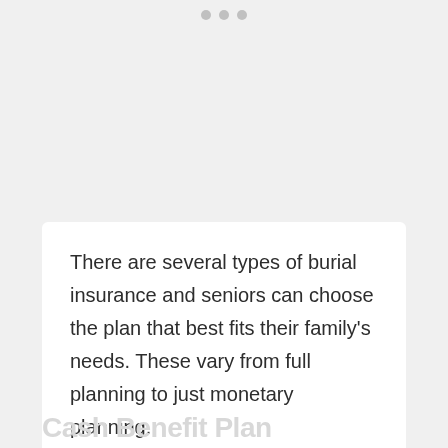• • •
There are several types of burial insurance and seniors can choose the plan that best fits their family's needs. These vary from full planning to just monetary planning.
Cash Benefit Plan